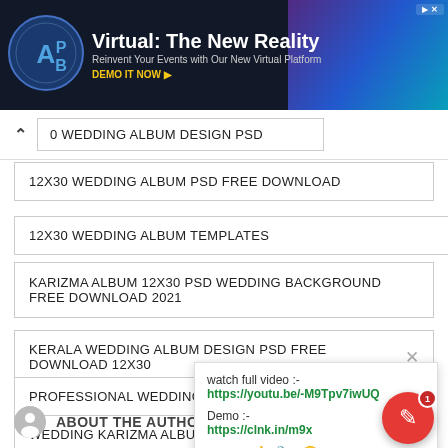[Figure (screenshot): APB advertisement banner: Virtual: The New Reality — Reinvent Your Events with Our New Virtual Platform. DEMO IT NOW.]
0 WEDDING ALBUM DESIGN PSD
12X30 WEDDING ALBUM PSD FREE DOWNLOAD
12X30 WEDDING ALBUM TEMPLATES
KARIZMA ALBUM 12X30 PSD WEDDING BACKGROUND FREE DOWNLOAD 2021
KERALA WEDDING ALBUM DESIGN PSD FREE DOWNLOAD 12X30
PROFESSIONAL WEDDING ALBUM DESIGN 12X30 PSD TE…
WEDDING KARIZMA ALBUM PSD 12X30 FREE DOWNLOA…
watch full video :- https://youtu.be/-M9Tpv7iwUQ Demo :- https://clnk.in/m9x
ABOUT THE AUTHOR